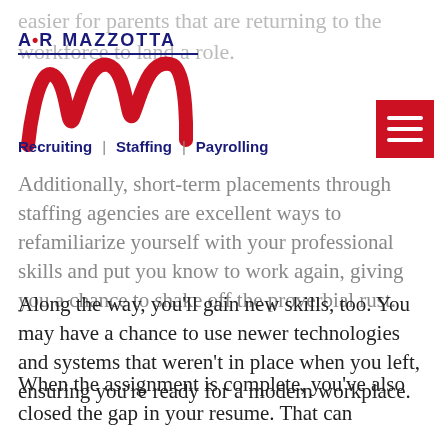easier for parents that are returning to the workforce to land a role.
[Figure (logo): A.R. Mazzotta logo with stylized red M and blue text, with Recruiting | Staffing | Payrolling navigation links below]
Additionally, short-term placements through staffing agencies are excellent ways to refamiliarize yourself with your professional skills and put you know to work again, giving you a chance to shake off the proverbial rust.
Along the way, you'll gain new skills, too. You may have a chance to use newer technologies and systems that weren't in place when you left, ensuring you're ready for a modern workplace.
When the assignment is complete, you've also closed the gap in your resume. That can